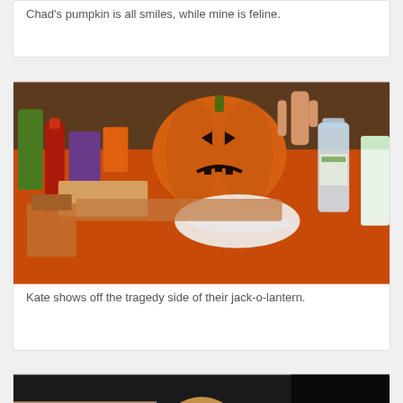Chad's pumpkin is all smiles, while mine is feline.
[Figure (photo): Photo of a jack-o-lantern pumpkin on a table with various bottles, cups, and items around it. A person's hand is visible in the background. The table has a red tablecloth.]
Kate shows off the tragedy side of their jack-o-lantern.
[Figure (photo): Photo of a young girl smiling and holding a pumpkin, with a dark door and cardboard boxes visible in the background.]